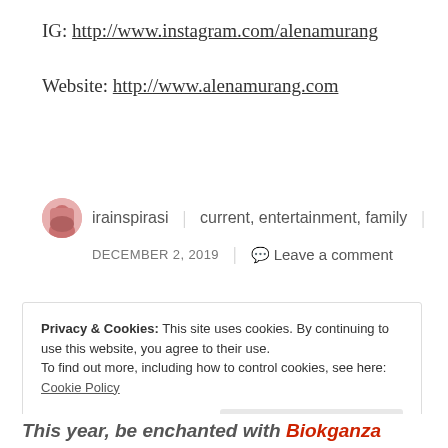IG: http://www.instagram.com/alenamurang
Website: http://www.alenamurang.com
irainspirasi | current, entertainment, family | DECEMBER 2, 2019 | Leave a comment
Privacy & Cookies: This site uses cookies. By continuing to use this website, you agree to their use.
To find out more, including how to control cookies, see here: Cookie Policy
Close and accept
This year, be enchanted with Biokganza